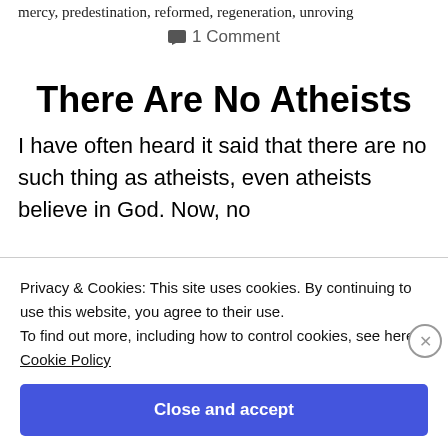mercy, predestination, reformed, regeneration, unroving
1 Comment
There Are No Atheists
I have often heard it said that there are no such thing as atheists, even atheists believe in God. Now, no atheist would agree to this proposition, but...
Privacy & Cookies: This site uses cookies. By continuing to use this website, you agree to their use.
To find out more, including how to control cookies, see here: Cookie Policy
Close and accept